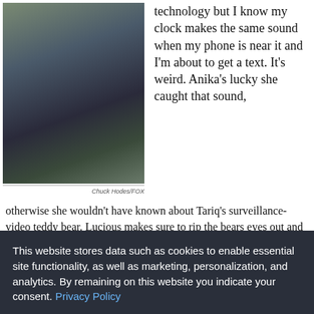[Figure (photo): Person carrying a cardboard box outdoors near a black iron fence and greenery, wearing dark clothing]
Chuck Hodes/FOX
technology but I know my clock makes the same sound when my phone is near it and I'm about to get a text. It's weird. Anika's lucky she caught that sound, otherwise she wouldn't have known about Tariq's surveillance-video teddy bear. Lucious makes sure to rip the bears eyes out and reveals the wires inside. You know he's not going to let Tariq get away with that one!
This website stores data such as cookies to enable essential site functionality, as well as marketing, personalization, and analytics. By remaining on this website you indicate your consent. Privacy Policy